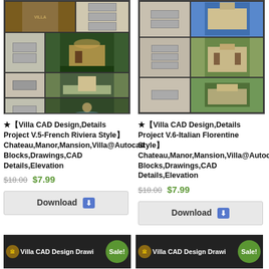[Figure (photo): Product collage image for Villa CAD Design V.5 French Riviera Style showing architectural drawings and mansion photo]
★【Villa CAD Design,Details Project V.5-French Riviera Style】Chateau,Manor,Mansion,Villa@Autocad Blocks,Drawings,CAD Details,Elevation
$18.00 $7.99
Download
[Figure (photo): Product collage image for Villa CAD Design V.6 Italian Florentine Style showing architectural drawings and building photo]
★【Villa CAD Design,Details Project V.6-Italian Florentine Style】Chateau,Manor,Mansion,Villa@Autocad Blocks,Drawings,CAD Details,Elevation
$18.00 $7.99
Download
[Figure (photo): Thumbnail for Villa CAD Design Drawings product with Sale badge]
[Figure (photo): Thumbnail for Villa CAD Design Drawings product with Sale badge]